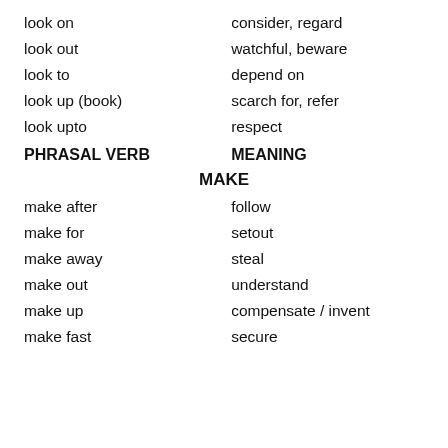look on — consider, regard
look out — watchful, beware
look to — depend on
look up (book) — scarch for, refer
look upto — respect
PHRASAL VERB    MEANING
MAKE
make after — follow
make for — setout
make away — steal
make out — understand
make up — compensate / invent
make fast — secure